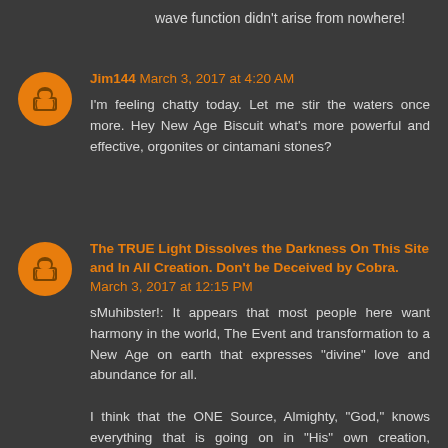wave function didn't arise from nowhere!
Jim144 March 3, 2017 at 4:20 AM
I'm feeling chatty today. Let me stir the waters once more. Hey New Age Biscuit what's more powerful and effective, orgonites or cintamani stones?
The TRUE Light Dissolves the Darkness On This Site and In All Creation. Don't be Deceived by Cobra. March 3, 2017 at 12:15 PM
sMuhibster!: It appears that most people here want harmony in the world, The Event and transformation to a New Age on earth that expresses "divine" love and abundance for all.

I think that the ONE Source, Almighty, "God," knows everything that is going on in "His" own creation, including the phenomenon of diverse